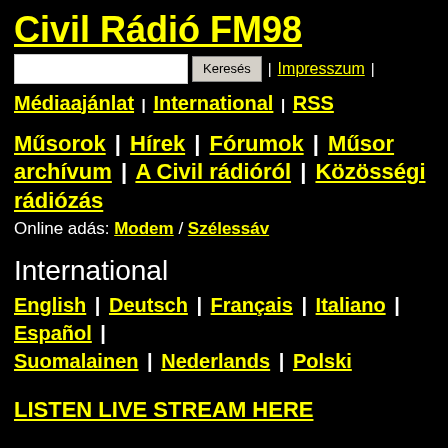Civil Rádió FM98
Keresés | Impresszum | Médiaajánlat | International | RSS
Műsorok | Hírek | Fórumok | Műsor archívum | A Civil rádióról | Közösségi rádiózás
Online adás: Modem / Szélessáv
International
English | Deutsch | Français | Italiano | Español | Suomalainen | Nederlands | Polski
LISTEN LIVE STREAM HERE